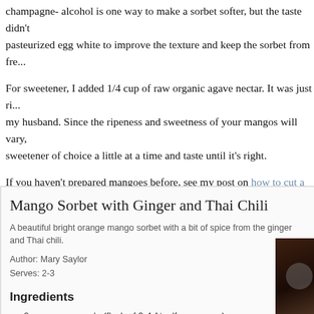champagne- alcohol is one way to make a sorbet softer, but the taste didn't suit my husband. pasteurized egg white to improve the texture and keep the sorbet from fre...
For sweetener, I added 1/4 cup of raw organic agave nectar. It was just right for my husband. Since the ripeness and sweetness of your mangos will vary, sweetener of choice a little at a time and taste until it's right.
If you haven't prepared mangoes before, see my post on how to cut a ma...
Mango Sorbet with Ginger and Thai Chili
A beautiful bright orange mango sorbet with a bit of spice from the ginger and Thai chili.
Author: Mary Saylor
Serves: 2-3
Ingredients
2 cups mango pulp (flesh of 3-4 Ataulfo mangoes)
1 pasteurized egg white
2 tsp. lime juice
1 tsp. minced ginger